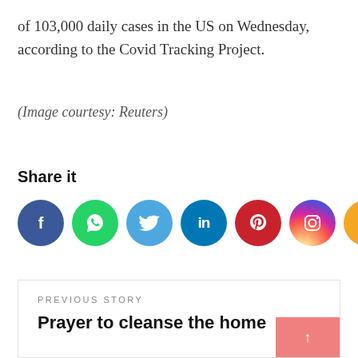of 103,000 daily cases in the US on Wednesday, according to the Covid Tracking Project.
(Image courtesy: Reuters)
Share it
[Figure (other): Social media share buttons: Facebook, WhatsApp, Twitter, LinkedIn, Pinterest, Instagram, Share]
PREVIOUS STORY
Prayer to cleanse the home